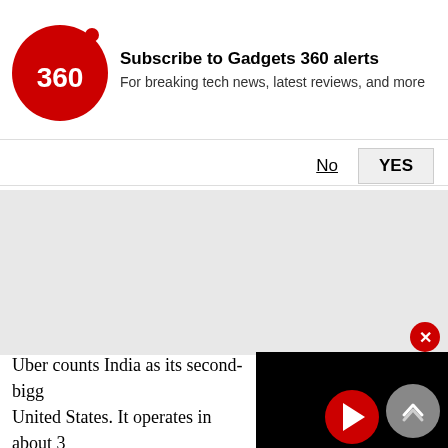[Figure (logo): Gadgets 360 red circular logo with '360' text]
Subscribe to Gadgets 360 alerts
For breaking tech news, latest reviews, and more
No    YES
[Figure (other): Gray advertisement placeholder area]
[Figure (other): Video player with red play button on black background]
Uber counts India as its second-biggest market after the United States. It operates in about 3[...] competes with Ola, a ride hailing se[...] Japan's SoftBank.
Uber said on Monday it had agreed with a consortium led by SoftBank and Dragoneer Investment Group on a